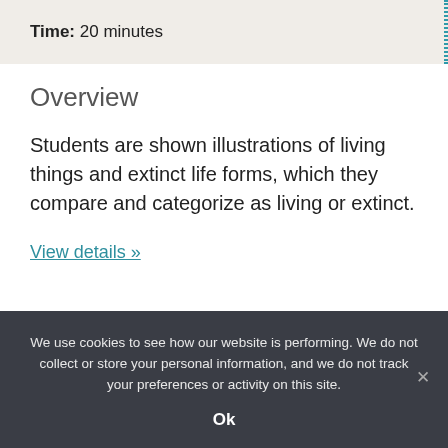Time: 20 minutes
Overview
Students are shown illustrations of living things and extinct life forms, which they compare and categorize as living or extinct.
View details »
We use cookies to see how our website is performing. We do not collect or store your personal information, and we do not track your preferences or activity on this site.
Ok